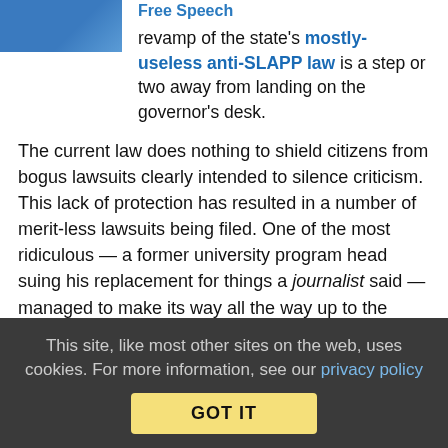revamp of the state's mostly-useless anti-SLAPP law is a step or two away from landing on the governor's desk.
Free Speech
The current law does nothing to shield citizens from bogus lawsuits clearly intended to silence criticism. This lack of protection has resulted in a number of merit-less lawsuits being filed. One of the most ridiculous — a former university program head suing his replacement for things a journalist said — managed to make its way all the way up to the state's appeal court. In the end, the defendant was awarded $10,000 in legal fees, but none of that was guaranteed when the plaintiff started wasting everyone's time and money.
As the law stands now in Tennessee, only communications to public officials about public entities are shielded from defamation lawsuits. It doesn't cover things like negative reviews of businesses, criticism of any public figure, or — like the case above — things defendants
This site, like most other sites on the web, uses cookies. For more information, see our privacy policy
GOT IT